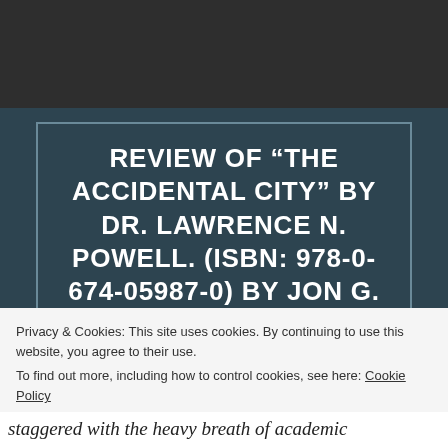REVIEW OF “THE ACCIDENTAL CITY” BY DR. LAWRENCE N. POWELL. (ISBN: 978-0-674-05987-0) BY JON G. LAICHE
Privacy & Cookies: This site uses cookies. By continuing to use this website, you agree to their use.
To find out more, including how to control cookies, see here: Cookie Policy
Close and accept
staggered with the heavy breath of academic